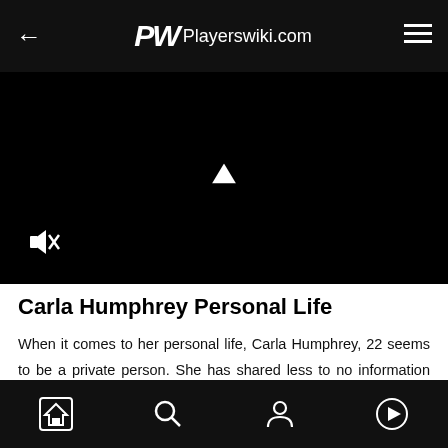Playerswiki.com
[Figure (screenshot): Black video player area with mute icon and play triangle indicator]
Carla Humphrey Personal Life
When it comes to her personal life, Carla Humphrey, 22 seems to be a private person. She has shared less to no information about her love life, not even her relationship status. Also, there aren't any records of
ADVERTISEMENT
Navigation bar with home, search, profile, and play icons